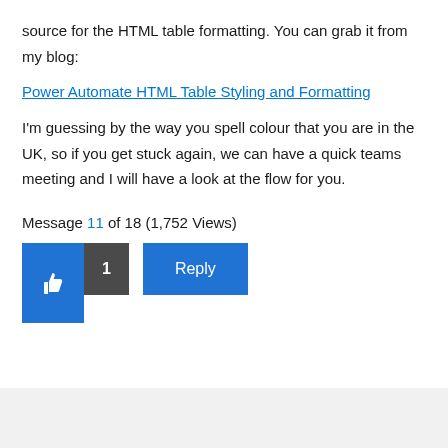source for the HTML table formatting. You can grab it from my blog:
Power Automate HTML Table Styling and Formatting
I'm guessing by the way you spell colour that you are in the UK, so if you get stuck again, we can have a quick teams meeting and I will have a look at the flow for you.
Message 11 of 18 (1,752 Views)